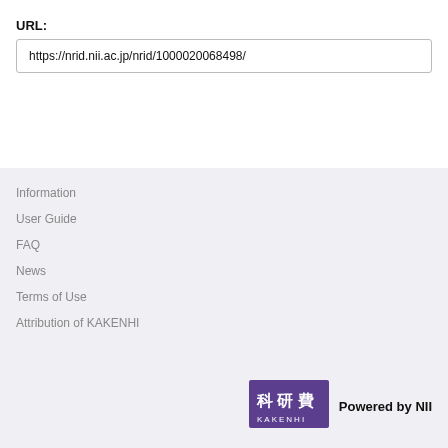URL:
https://nrid.nii.ac.jp/nrid/1000020068498/
Information
User Guide
FAQ
News
Terms of Use
Attribution of KAKENHI
[Figure (logo): KAKENHI logo with Japanese characters 科研費 and text KAKENHI in purple background]
Powered by NII